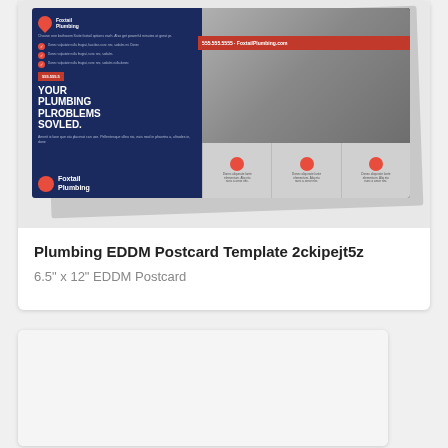[Figure (illustration): Plumbing EDDM postcard template mockup showing Foxtail Plumbing branded postcard with dark blue background, red accents, plumbing tools photo, headline 'YOUR PLUMBING PLROBLEMS SOVLED.' and Foxtail Plumbing logo]
Plumbing EDDM Postcard Template 2ckipejt5z
6.5" x 12" EDDM Postcard
[Figure (illustration): Second product card placeholder showing a mostly white/light gray empty card area]